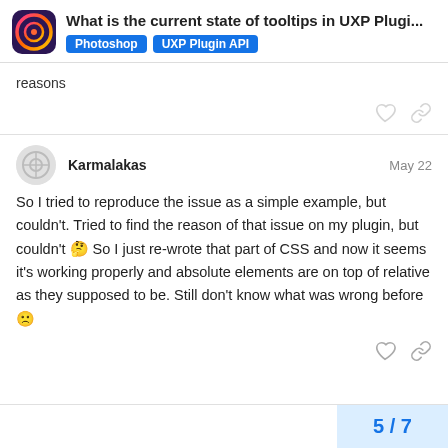What is the current state of tooltips in UXP Plugi... | Photoshop | UXP Plugin API
reasons
Karmalakas  May 22
So I tried to reproduce the issue as a simple example, but couldn't. Tried to find the reason of that issue on my plugin, but couldn't 🤔 So I just re-wrote that part of CSS and now it seems it's working properly and absolute elements are on top of relative as they supposed to be. Still don't know what was wrong before 🙁
5 / 7